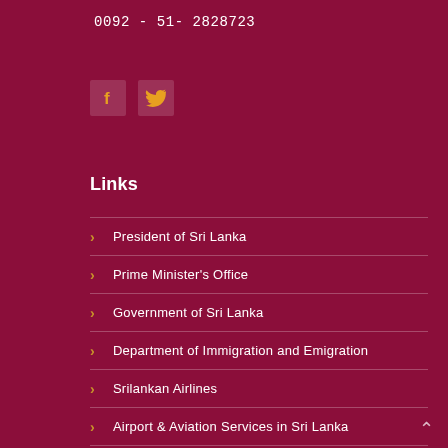0092 - 51- 2828723
[Figure (infographic): Social media icons: Facebook (f) and Twitter (bird) in orange/gold color inside semi-transparent boxes on dark red background]
Links
President of Sri Lanka
Prime Minister's Office
Government of Sri Lanka
Department of Immigration and Emigration
Srilankan Airlines
Airport & Aviation Services in Sri Lanka
Department of Commerce Sri Lanka
Sri Lanka Trade Information Portal (SLTIP)